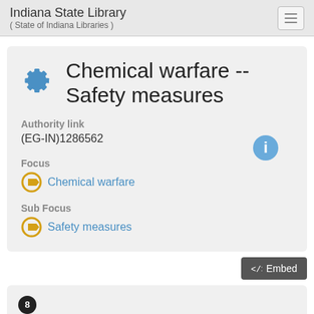Indiana State Library ( State of Indiana Libraries )
Chemical warfare -- Safety measures
Authority link
(EG-IN)1286562
Focus
Chemical warfare
Sub Focus
Safety measures
8 Items that share the Concept Chemical warfare -- Safety measures